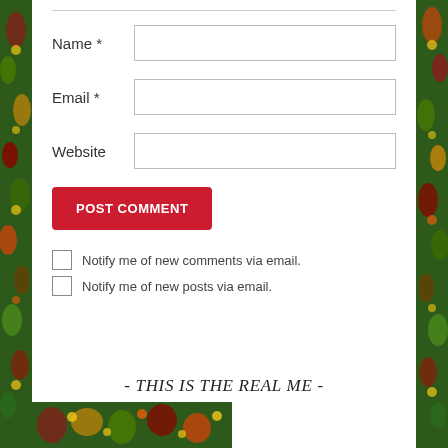Name *
Email *
Website
POST COMMENT
Notify me of new comments via email.
Notify me of new posts via email.
- THIS IS THE REAL ME -